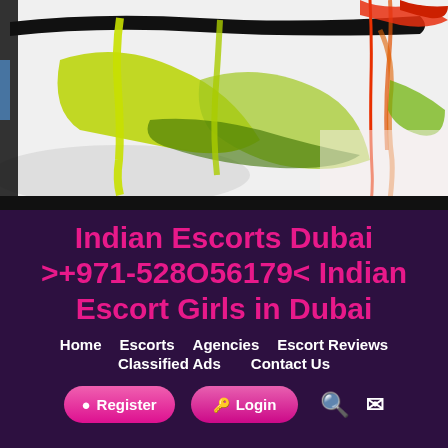[Figure (photo): Abstract art image with bold black brushstrokes across top, yellow-green drips and splashes, red/orange drips on right side, white and grey background, with a dark black bar at the very bottom of the image section.]
Indian Escorts Dubai >+971-528O56179< Indian Escort Girls in Dubai
Home
Escorts
Agencies
Escort Reviews
Classified Ads
Contact Us
Register
Login